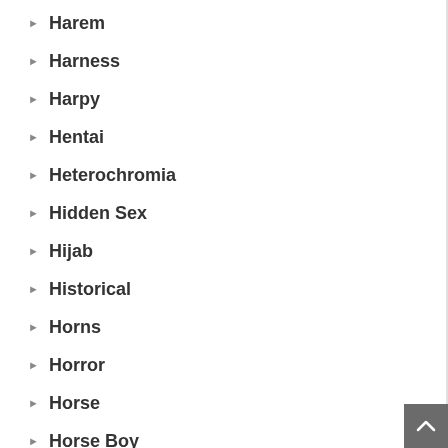Harem
Harness
Harpy
Hentai
Heterochromia
Hidden Sex
Hijab
Historical
Horns
Horror
Horse
Horse Boy
Horse Cock